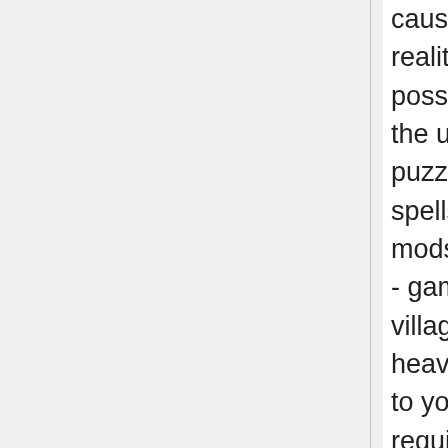causes an instantaneous gap within the fabric of reality that sucks in any and all strangers it could possibly seize in order to plug the hole and keep the universe from imploding. It even comes with a puzzler you can complete in order to research new spells. minecraft servers And there are Minecraft mods that even add to the sum total. Take Minecraft - gamers can construct homes and even complete villages. Take observe! This mod is reasonably heavy (considering all of the cool new stuff it adds to your game), so a minimal of 2GB RAM is required to ensure that it to run properly. For Minecraft players struggling to get Minecraft working at affordable speeds, you may want to think about FastCraft to your subsequent obtain.